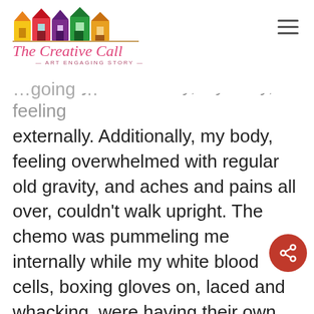[Figure (logo): The Creative Call logo with colorful houses illustration above the text 'The Creative Call – Art Engaging Story –']
externally. Additionally, my body, feeling overwhelmed with regular old gravity, and aches and pains all over, couldn't walk upright. The chemo was pummeling me internally while my white blood cells, boxing gloves on, laced and whacking, were having their own say.
I decided to have courage. I crawled to Nancy's room to ask for help. It took me closer to 20 minutes to ask for help. I'm not proud of this. I'm an advocate for others to help them ask for help. But,